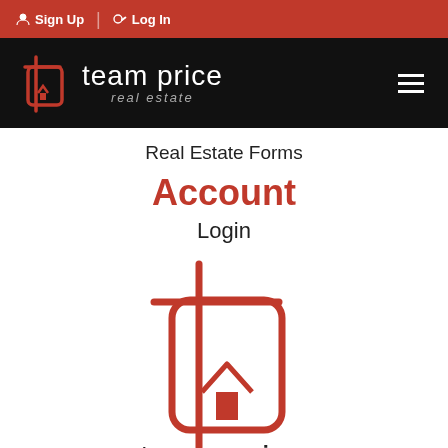Sign Up | Log In
[Figure (logo): Team Price Real Estate logo with house icon on black navigation bar]
Real Estate Forms
Account
Login
[Figure (logo): Large Team Price Real Estate logo with red house-in-frame icon and brand name]